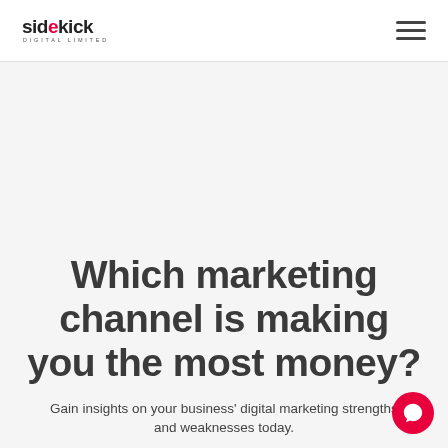sidekick DIGITAL LIMITED
Which marketing channel is making you the most money?
Gain insights on your business' digital marketing strengths and weaknesses today.